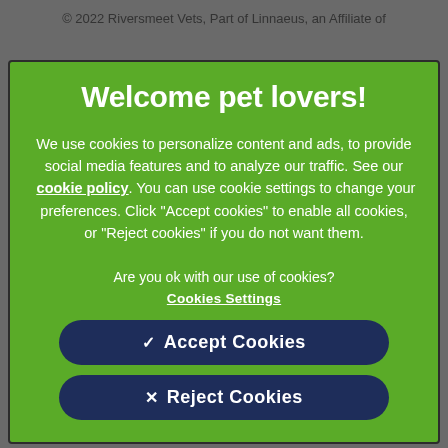© 2022 Riversmeet Vets, Part of Linnaeus, an Affiliate of
Welcome pet lovers!
We use cookies to personalize content and ads, to provide social media features and to analyze our traffic. See our cookie policy. You can use cookie settings to change your preferences. Click "Accept cookies" to enable all cookies, or "Reject cookies" if you do not want them.
Are you ok with our use of cookies?
Cookies Settings
✓  Accept Cookies
×  Reject Cookies